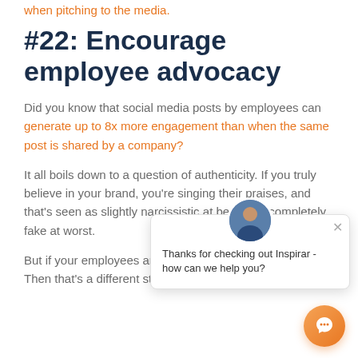when pitching to the media.
#22: Encourage employee advocacy
Did you know that social media posts by employees can generate up to 8x more engagement than when the same post is shared by a company?
It all boils down to a question of authenticity. If you truly believe in your brand, you're singing their praises, and that's seen as slightly narcissistic at best, and completely fake at worst.
But if your employees are saying good things about you? Then that's a different story!
[Figure (screenshot): Chat popup overlay with avatar showing 'Thanks for checking out Inspirar - how can we help you?' message and orange chat button in bottom right corner]